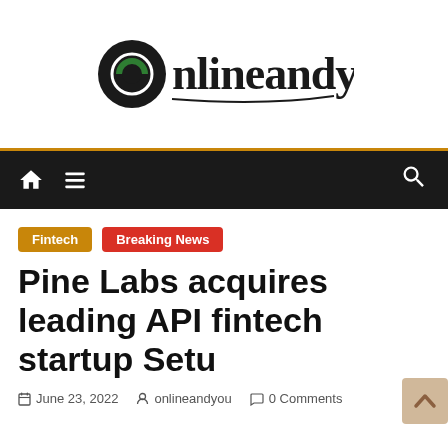[Figure (logo): Onlineandyou website logo — black circle with stylized 'O' icon and handwritten-style 'nlineandyou' text]
Navigation bar with home icon, menu icon, and search icon
Fintech
Breaking News
Pine Labs acquires leading API fintech startup Setu
June 23, 2022   onlineandyou   0 Comments